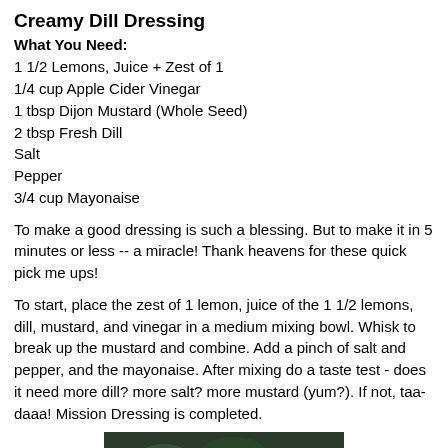Creamy Dill Dressing
What You Need:
1 1/2 Lemons, Juice + Zest of 1
1/4 cup Apple Cider Vinegar
1 tbsp Dijon Mustard (Whole Seed)
2 tbsp Fresh Dill
Salt
Pepper
3/4 cup Mayonaise
To make a good dressing is such a blessing. But to make it in 5 minutes or less -- a miracle! Thank heavens for these quick pick me ups!
To start, place the zest of 1 lemon, juice of the 1 1/2 lemons, dill, mustard, and vinegar in a medium mixing bowl. Whisk to break up the mustard and combine. Add a pinch of salt and pepper, and the mayonaise. After mixing do a taste test - does it need more dill? more salt? more mustard (yum?). If not, taa-daaa! Mission Dressing is completed.
[Figure (photo): Photo of the completed creamy dill dressing or ingredients, partially visible at the bottom of the page]